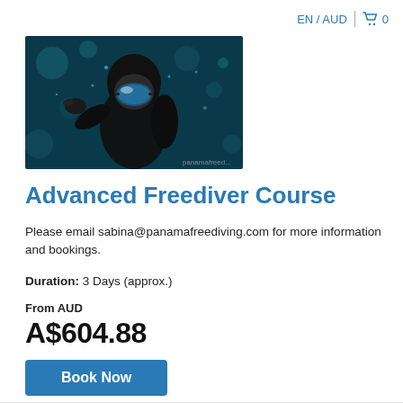EN / AUD  0
[Figure (photo): Freediver underwater wearing a black wetsuit and diving mask, with bokeh blue-green water background, reaching one hand forward toward camera.]
Advanced Freediver Course
Please email sabina@panamafreediving.com for more information and bookings.
Duration: 3 Days (approx.)
From AUD
A$604.88
Book Now